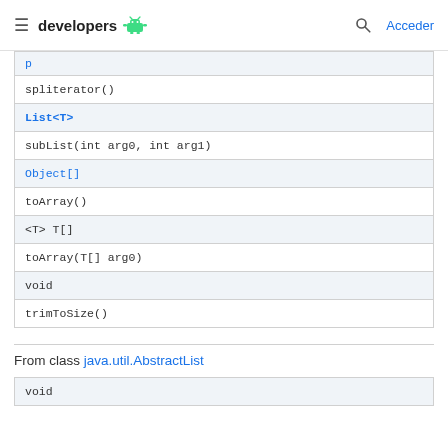developers  [android icon]  [search icon]  Acceder
| [partial blue link] |
| spliterator() |
| List<T> |
| subList(int arg0, int arg1) |
| Object[] |
| toArray() |
| <T> T[] |
| toArray(T[] arg0) |
| void |
| trimToSize() |
From class java.util.AbstractList
| void |